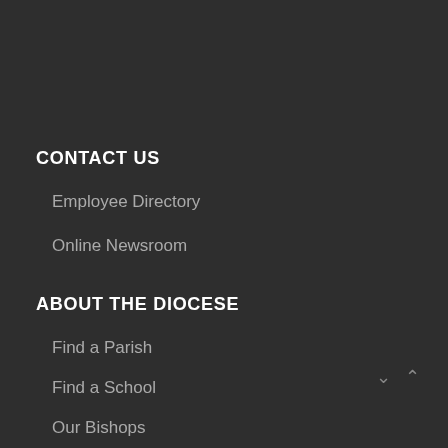CONTACT US
Employee Directory
Online Newsroom
ABOUT THE DIOCESE
Find a Parish
Find a School
Our Bishops
Facts and Figures
Archives